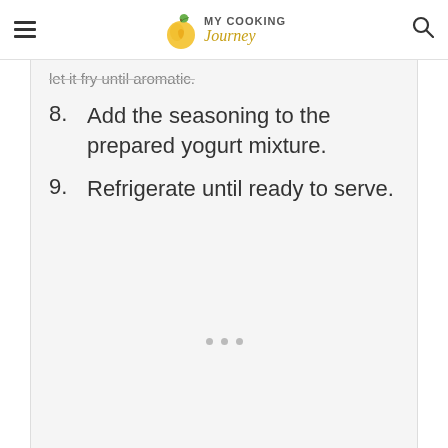MY COOKING Journey
let it fry until aromatic.
8. Add the seasoning to the prepared yogurt mixture.
9. Refrigerate until ready to serve.